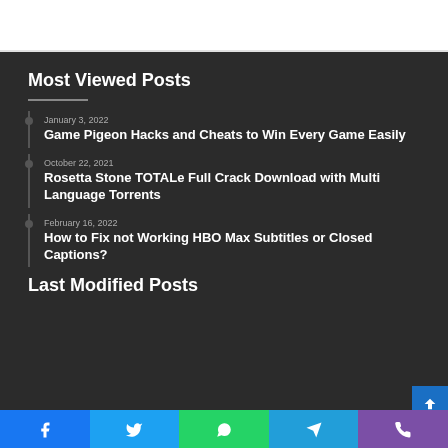Most Viewed Posts
January 3, 2022
Game Pigeon Hacks and Cheats to Win Every Game Easily
October 22, 2021
Rosetta Stone TOTALe Full Crack Download with Multi Language Torrents
February 16, 2022
How to Fix not Working HBO Max Subtitles or Closed Captions?
Last Modified Posts